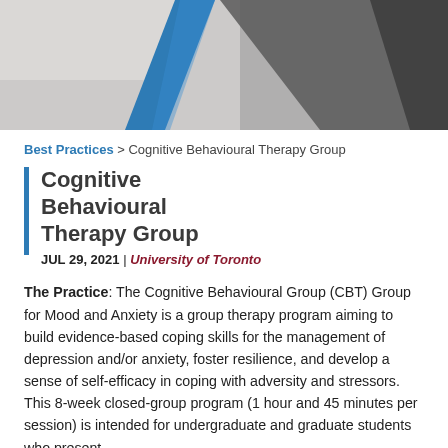[Figure (photo): Header image with a blurred background showing a desk/study environment, with a large blue diagonal slash graphic and a dark gray triangular shape overlay on the right side.]
Best Practices > Cognitive Behavioural Therapy Group
Cognitive Behavioural Therapy Group
JUL 29, 2021 | University of Toronto
The Practice: The Cognitive Behavioural Group (CBT) Group for Mood and Anxiety is a group therapy program aiming to build evidence-based coping skills for the management of depression and/or anxiety, foster resilience, and develop a sense of self-efficacy in coping with adversity and stressors. This 8-week closed-group program (1 hour and 45 minutes per session) is intended for undergraduate and graduate students who present